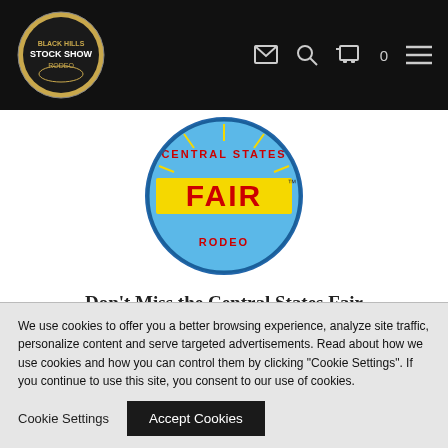[Figure (logo): Black Hills Stock Show Rodeo circular logo in navigation bar]
[Figure (logo): Central States Fair & Rodeo circular logo with yellow FAIR banner, blue background, red text]
Don’t Miss the Central States Fair
Rapid City, South Dakota, USA
BACK TO TOP
HOME
CONTACT
We use cookies to offer you a better browsing experience, analyze site traffic, personalize content and serve targeted advertisements. Read about how we use cookies and how you can control them by clicking “Cookie Settings”. If you continue to use this site, you consent to our use of cookies.